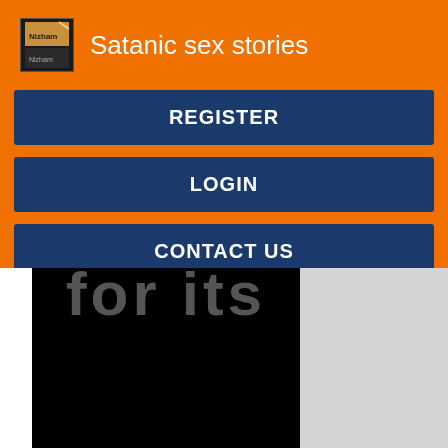Satanic sex stories
REGISTER
LOGIN
CONTACT US
[Figure (screenshot): Bottom portion of a mobile app screenshot showing partial large text on black background on the left and gray background on the right]